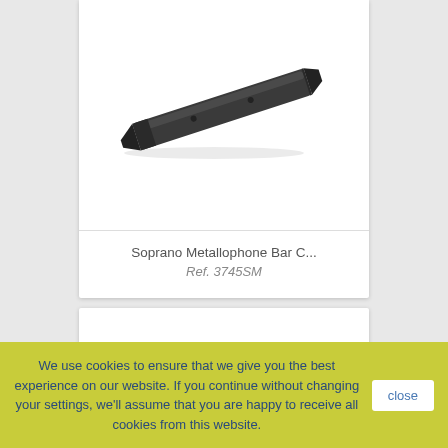[Figure (photo): A dark-colored metallophone bar, elongated rectangular metal bar with slightly tapered ends, angled diagonally on a white background.]
Soprano Metallophone Bar C...
Ref. 3745SM
We use cookies to ensure that we give you the best experience on our website. If you continue without changing your settings, we'll assume that you are happy to receive all cookies from this website.